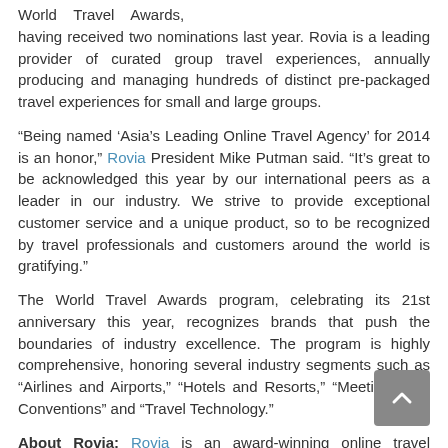World Travel Awards, having received two nominations last year. Rovia is a leading provider of curated group travel experiences, annually producing and managing hundreds of distinct pre-packaged travel experiences for small and large groups.
“Being named ‘Asia’s Leading Online Travel Agency’ for 2014 is an honor,” Rovia President Mike Putman said. “It’s great to be acknowledged this year by our international peers as a leader in our industry. We strive to provide exceptional customer service and a unique product, so to be recognized by travel professionals and customers around the world is gratifying.”
The World Travel Awards program, celebrating its 21st anniversary this year, recognizes brands that push the boundaries of industry excellence. The program is highly comprehensive, honoring several industry segments such as “Airlines and Airports,” “Hotels and Resorts,” “Meetings and Conventions” and “Travel Technology.”
About Rovia: Rovia is an award-winning online travel company with offices in South Carolina and Texas. With almost 30 years of experience in the travel industry, Rovia is quickly becoming the largest provider of curated group travel experiences in the world. The company annually produces and manages hundreds of unique pre-packaged experiences for groups numbering from a few dozen to a few thousand.